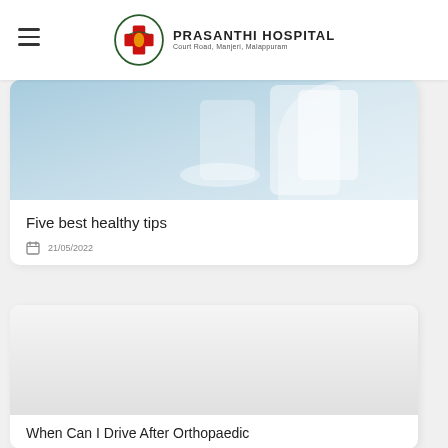Prasanthi Hospital — Court Road, Manjeri, Malappuram
[Figure (photo): Medical/healthcare image with light blue background, showing a person in white coat holding something, with decorative cross/medical imagery]
Five best healthy tips
21/05/2022
[Figure (photo): Light grey placeholder image for second article about orthopaedic driving]
When Can I Drive After Orthopaedic